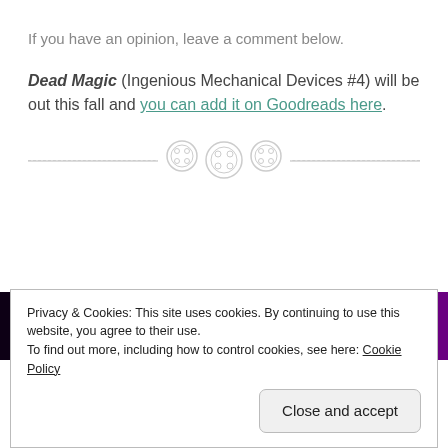If you have an opinion, leave a comment below.
Dead Magic (Ingenious Mechanical Devices #4) will be out this fall and you can add it on Goodreads here.
[Figure (illustration): Decorative section divider with three button-like circular icons on a dashed horizontal line]
[Figure (illustration): Dark purple banner with stars, shaped with angled edges on left and right sides]
Privacy & Cookies: This site uses cookies. By continuing to use this website, you agree to their use.
To find out more, including how to control cookies, see here: Cookie Policy
Close and accept